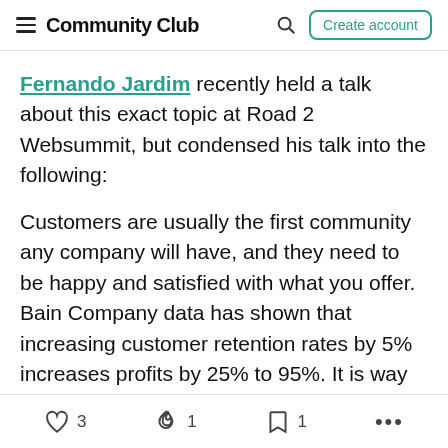Community Club — Create account
Fernando Jardim recently held a talk about this exact topic at Road 2 Websummit, but condensed his talk into the following:
Customers are usually the first community any company will have, and they need to be happy and satisfied with what you offer. Bain Company data has shown that increasing customer retention rates by 5% increases profits by 25% to 95%. It is way smarter for a company to have recurring revenue from customers who they already know (community members), than spending a lot of money on ads
3   1   1   ...